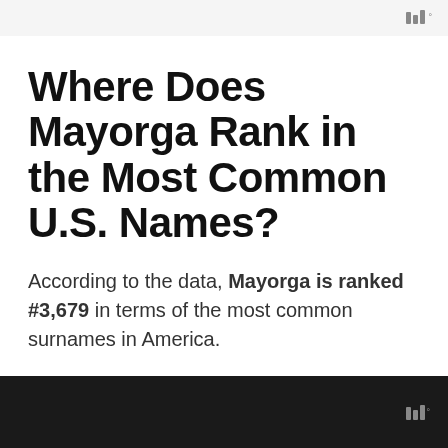Where Does Mayorga Rank in the Most Common U.S. Names?
According to the data, Mayorga is ranked #3,679 in terms of the most common surnames in America.